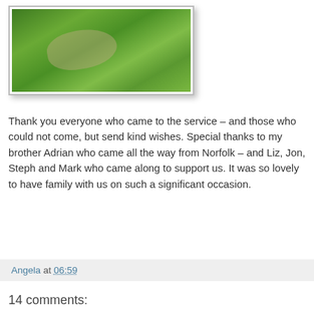[Figure (photo): Photo of an animal lying in green grass, partially visible, within a white-bordered frame with drop shadow]
Thank you everyone who came to the service – and those who could not come, but send kind wishes. Special thanks to my brother Adrian who came all the way from Norfolk – and Liz, Jon, Steph and Mark who came along to support us. It was so lovely to have family with us on such a significant occasion.
Angela at 06:59
14 comments:
Morgan  8 February 2015 at 09:11
So glad it went well. I know you will be blessed as well as blessing many others in your new church xxx
Reply